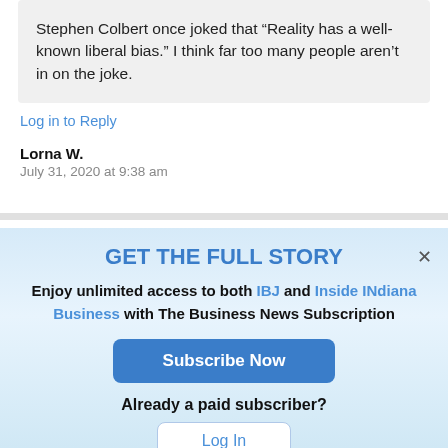Stephen Colbert once joked that “Reality has a well-known liberal bias.” I think far too many people aren’t in on the joke.
Log in to Reply
Lorna W.
July 31, 2020 at 9:38 am
GET THE FULL STORY
Enjoy unlimited access to both IBJ and Inside INdiana Business with The Business News Subscription
Subscribe Now
Already a paid subscriber?
Log In